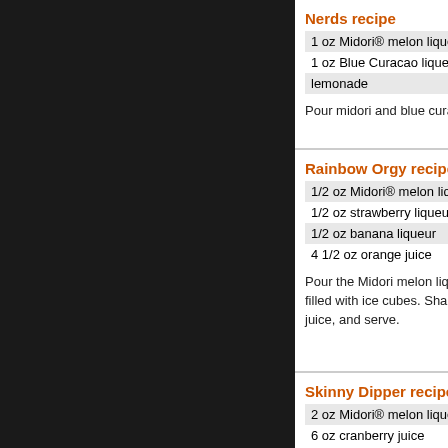Nerds recipe
1 oz Midori® melon liqueur
1 oz Blue Curacao liqueur
lemonade
Pour midori and blue curacao into a highball glass with a few ice cubes. Fill with lemonade.
Serve in: Highball Glass
Pascal recipe
3 ml Midori
3 ml Licor
milk
Pour licor 4. Fill with mi
Rainbow Orgy recipe
1/2 oz Midori® melon liqueur
1/2 oz strawberry liqueur
1/2 oz banana liqueur
4 1/2 oz orange juice
Pour the Midori melon liqueur, strawberry liqueur and banana liqueur into a cocktail shaker one-third filled with ice cubes. Shake well, and pour entire contents into a highball glass. Top with orange juice, and serve.
5% (10 proof)
Serve in: Highball Glass
Scope #2
1/2 oz Midori melon liqueur
1/2 oz Rum
Place ice i melon liqu Shake and
Skinny Dipper recipe
2 oz Midori® melon liqueur
6 oz cranberry juice
Mix ingredients and serve in a tall glass over ice.
5% (10 proof)
Zimadori Z
1 1/2 oz M
12 oz Zim
Pour Zima then pour t Garnish wi